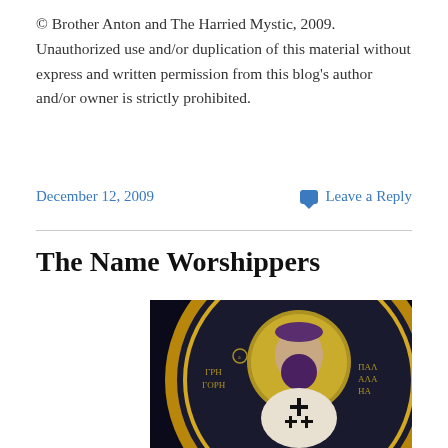© Brother Anton and The Harried Mystic, 2009. Unauthorized use and/or duplication of this material without express and written permission from this blog's author and/or owner is strictly prohibited.
December 12, 2009   Leave a Reply
The Name Worshippers
[Figure (photo): Orthodox icon depicting a bearded saint (Gregory Palamas) with a halo, wearing vestments with crosses, set against a dark background with Greek text ΓΡΗ ΓΟΡΗ and ΠΑΛ ΑΜ ΑΣ on either side]